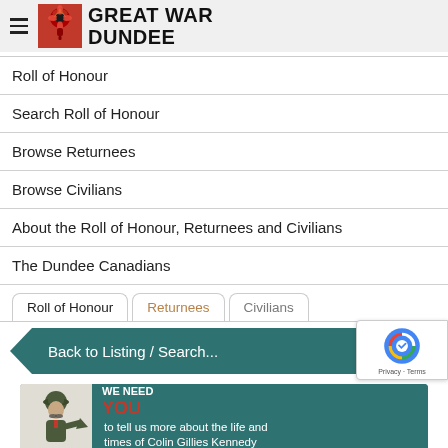GREAT WAR DUNDEE
Roll of Honour
Search Roll of Honour
Browse Returnees
Browse Civilians
About the Roll of Honour, Returnees and Civilians
The Dundee Canadians
Roll of Honour  Returnees  Civilians
Back to Listing / Search...
[Figure (infographic): Banner with 'WE NEED YOU' recruitment-style image and text: 'to tell us more about the life and times of Colin Gillies Kennedy']